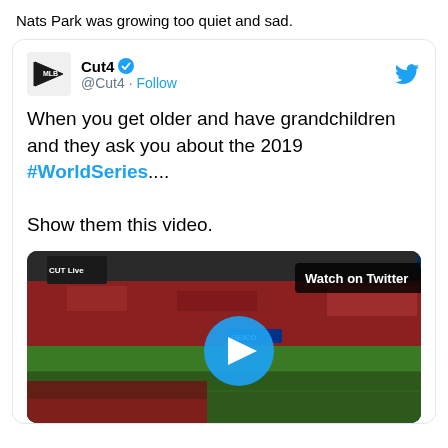Nats Park was growing too quiet and sad.
[Figure (screenshot): Embedded tweet from @Cut4 with verified badge. Tweet text: 'When you get older and have grandchildren and they ask you about the 2019 #WorldSeries.... Show them this video.' Includes a video thumbnail showing a baseball stadium crowd with a play button overlay and 'Watch on Twitter' label.]